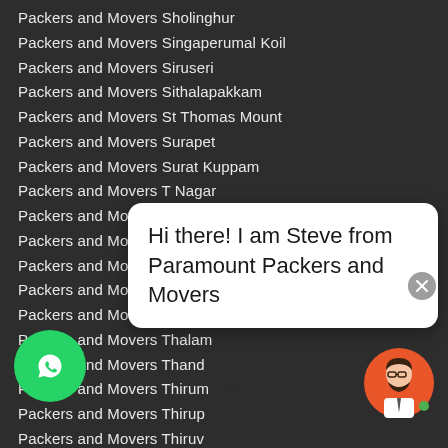Packers and Movers Sholinghur
Packers and Movers Singaperumal Koil
Packers and Movers Siruseri
Packers and Movers Sithalapakkam
Packers and Movers St Thomas Mount
Packers and Movers Surapet
Packers and Movers Surat Kuppam
Packers and Movers T Nagar
Packers and Movers Tambaram
Packers and Movers Tambaram West
Packers and Movers Taramani
Packers and Movers Teynampet
Packers and Movers Thakkolam
Packers and Movers Thalam
Packers and Movers Thand
Packers and Movers Thirum
Packers and Movers Thirup
Packers and Movers Thiruv
Packers and Movers Thiruvalluvar Nagar
Packers and Movers Thiruvanmiyur
Packers and Movers Velachery
Packers and Movers Noida
Hi there! I am Steve from Paramount Packers and Movers
[Figure (illustration): WhatsApp icon green circle button]
[Figure (illustration): Avatar of Steve, a cartoon man with glasses and beard on orange circle background]